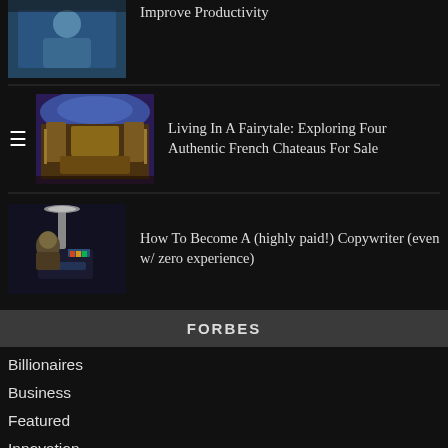[Figure (photo): Person in warehouse or library holding a tablet, partially cropped at top]
Improve Productivity
[Figure (photo): Ornate room interior with wooden furniture and blue ceiling]
Living In A Fairytale: Exploring Four Authentic French Chateaus For Sale
[Figure (photo): Person sitting at a desk under lamp, thinking, with colorful light]
How To Become A (highly paid!) Copywriter (even w/ zero experience)
FORBES
Billionaires
Business
Featured
Innovation